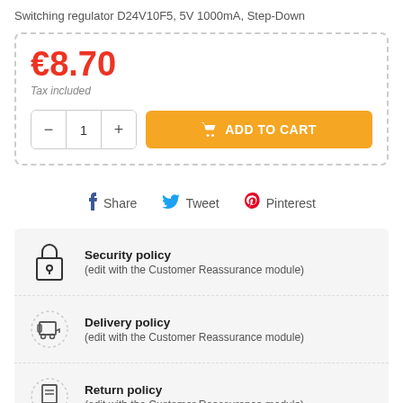Switching regulator D24V10F5, 5V 1000mA, Step-Down
€8.70
Tax included
1
ADD TO CART
Share  Tweet  Pinterest
Security policy
(edit with the Customer Reassurance module)
Delivery policy
(edit with the Customer Reassurance module)
Return policy
(edit with the Customer Reassurance module)